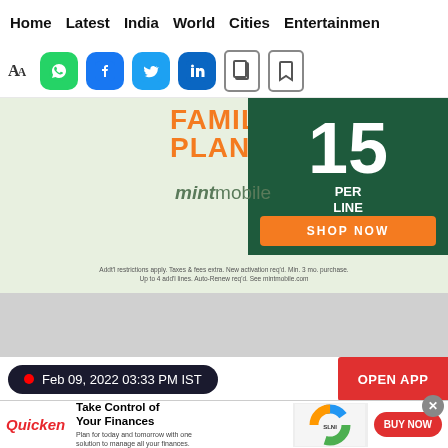Home  Latest  India  World  Cities  Entertainment
[Figure (screenshot): Social sharing toolbar with font size AA, WhatsApp, Facebook, Twitter, LinkedIn, copy, and bookmark icons]
[Figure (infographic): Mint Mobile advertisement: FAMILY PLAN, 15 PER LINE, 2+ LINES, SHOP NOW button, mintmobile logo, fine print]
Feb 09, 2022 03:33 PM IST
OPEN APP
Change in bowling
[Figure (infographic): Quicken advertisement: Take Control of Your Finances. Plan for today and tomorrow with one solution to manage all your finances. BUY NOW button.]